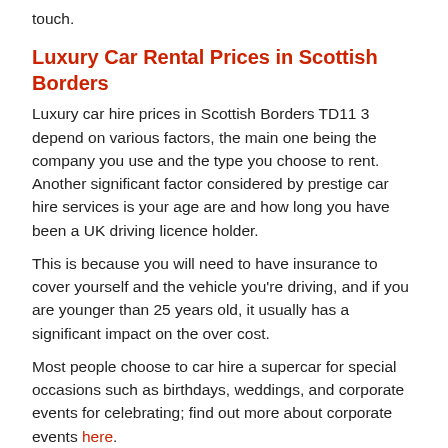touch.
Luxury Car Rental Prices in Scottish Borders
Luxury car hire prices in Scottish Borders TD11 3 depend on various factors, the main one being the company you use and the type you choose to rent. Another significant factor considered by prestige car hire services is your age are and how long you have been a UK driving licence holder.
This is because you will need to have insurance to cover yourself and the vehicle you're driving, and if you are younger than 25 years old, it usually has a significant impact on the over cost.
Most people choose to car hire a supercar for special occasions such as birthdays, weddings, and corporate events for celebrating; find out more about corporate events here.
Hiring Luxury Vehicle in the UK
When hiring a luxury vehicle, a supercar, or a sports car, like a Lamborghini, in the UK, it is essential to make sure the car hire company business you use is suitable and have experience in the industry...